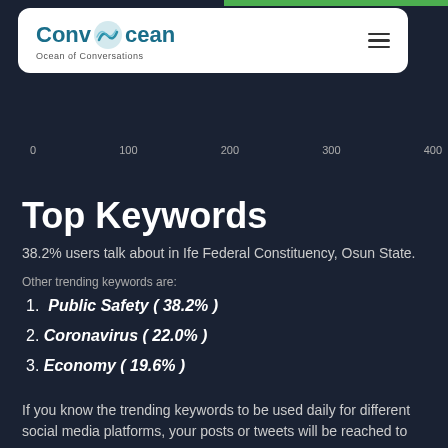[Figure (logo): ConvOcean logo with wave icon and tagline 'Ocean of Conversations']
[Figure (other): X-axis scale labels showing 0, 100, 200, 300, 400 for a horizontal bar chart above the fold]
Top Keywords
38.2% users talk about in Ife Federal Constituency, Osun State.
Other trending keywords are:
1. Public Safety ( 38.2% )
2. Coronavirus ( 22.0% )
3. Economy ( 19.6% )
If you know the trending keywords to be used daily for different social media platforms, your posts or tweets will be reached to